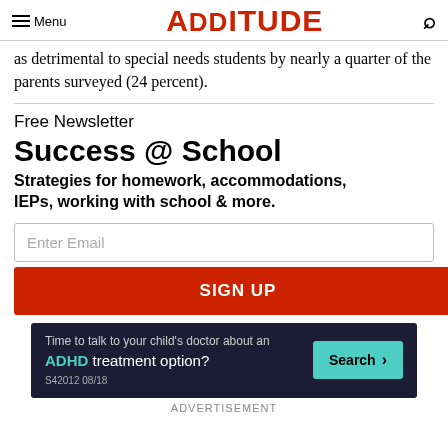Menu | ADDITUDE
as detrimental to special needs students by nearly a quarter of the parents surveyed (24 percent).
Free Newsletter
Success @ School
Strategies for homework, accommodations, IEPs, working with school & more.
[Figure (screenshot): Email signup form with 'Enter Email' input field and red 'SIGN UP' button]
[Figure (infographic): Advertisement: Time to talk to your child's doctor about an ADHD treatment option? Search button. S42012 08/18]
ADVERTISEMENT